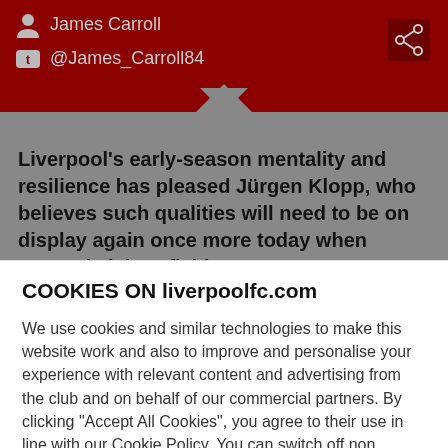James Carroll
@James_Carroll84
Liverpool's early-season mentality and resilience has pleased Jürgen Klopp, who believes such qualities will need to be on display again once more today when Arsenal visit Anfield.
The boss is delighted by the manner in which the Reds have reacted to setbacks in their opening four matches, but knows they will face another stern test against the
COOKIES ON liverpoolfc.com
We use cookies and similar technologies to make this website work and also to improve and personalise your experience with relevant content and advertising from the club and on behalf of our commercial partners. By clicking "Accept All Cookies", you agree to their use in line with our Cookie Policy. You can switch off non essential cookies using "Manage Settings" but this may affect the functionality of the website and any personalisation of content.